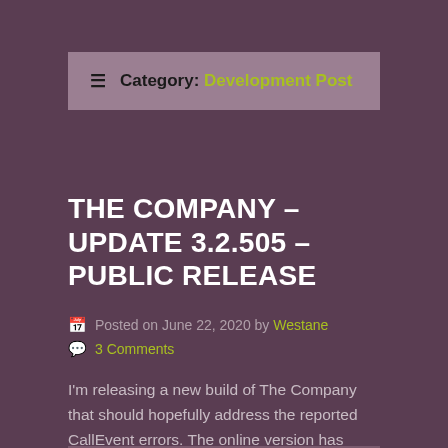☰ Category: Development Post
THE COMPANY – UPDATE 3.2.505 – PUBLIC RELEASE
Posted on June 22, 2020 by Westane
3 Comments
I'm releasing a new build of The Company that should hopefully address the reported CallEvent errors. The online version has already been updated and should read as Build 3.020505, and the local version of the game can be downloaded below: Download – The Company…